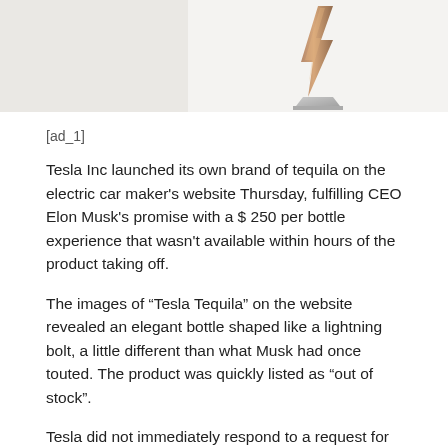[Figure (photo): Two product images side by side: left panel shows a light-colored background possibly a bottle, right panel shows an elegant lightning bolt-shaped tequila bottle on a stand against a light background.]
[ad_1]
Tesla Inc launched its own brand of tequila on the electric car maker's website Thursday, fulfilling CEO Elon Musk's promise with a $ 250 per bottle experience that wasn't available within hours of the product taking off.
The images of “Tesla Tequila” on the website revealed an elegant bottle shaped like a lightning bolt, a little different than what Musk had once touted. The product was quickly listed as “out of stock”.
Tesla did not immediately respond to a request for comment.
Musk tweeted the idea of “Teslaquila” on April 1, 2018, which many of his followers considered a joke. However, Musk’s efforts to register the drink in October of that year were frowned upon by